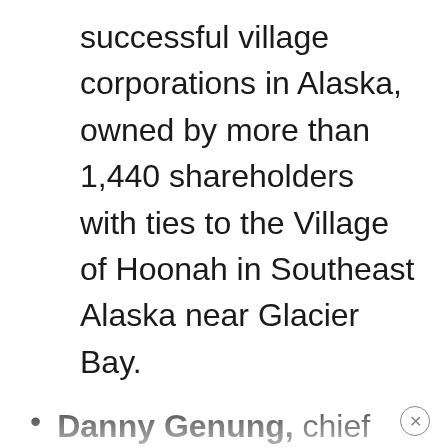successful village corporations in Alaska, owned by more than 1,440 shareholders with ties to the Village of Hoonah in Southeast Alaska near Glacier Bay.
Danny Genung, chief executive officer of Harr Travel, a California-based boutique agency that offers individualized services. Over his